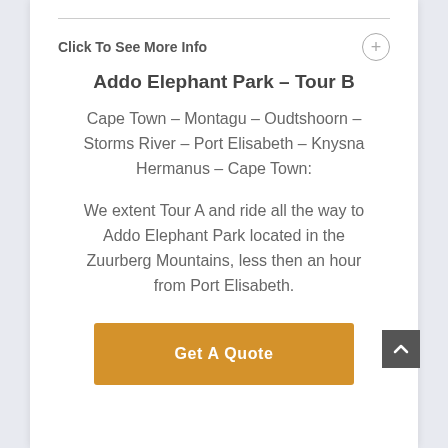Click To See More Info
Addo Elephant Park – Tour B
Cape Town – Montagu – Oudtshoorn – Storms River – Port Elisabeth – Knysna Hermanus – Cape Town:
We extent Tour A and ride all the way to Addo Elephant Park located in the Zuurberg Mountains, less then an hour from Port Elisabeth.
Get A Quote